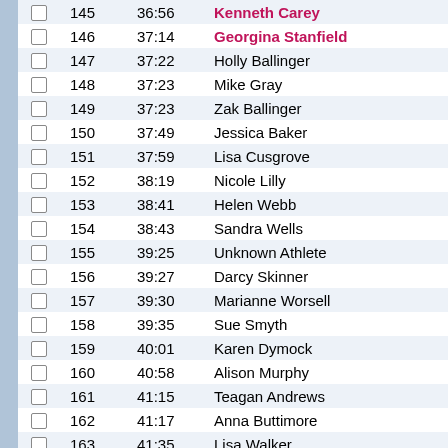|  | Position | Time | Name |
| --- | --- | --- | --- |
| ☐ | 145 | 36:56 | Kenneth Carey |
| ☐ | 146 | 37:14 | Georgina Stanfield |
| ☐ | 147 | 37:22 | Holly Ballinger |
| ☐ | 148 | 37:23 | Mike Gray |
| ☐ | 149 | 37:23 | Zak Ballinger |
| ☐ | 150 | 37:49 | Jessica Baker |
| ☐ | 151 | 37:59 | Lisa Cusgrove |
| ☐ | 152 | 38:19 | Nicole Lilly |
| ☐ | 153 | 38:41 | Helen Webb |
| ☐ | 154 | 38:43 | Sandra Wells |
| ☐ | 155 | 39:25 | Unknown Athlete |
| ☐ | 156 | 39:27 | Darcy Skinner |
| ☐ | 157 | 39:30 | Marianne Worsell |
| ☐ | 158 | 39:35 | Sue Smyth |
| ☐ | 159 | 40:01 | Karen Dymock |
| ☐ | 160 | 40:58 | Alison Murphy |
| ☐ | 161 | 41:15 | Teagan Andrews |
| ☐ | 162 | 41:17 | Anna Buttimore |
| ☐ | 163 | 41:35 | Lisa Walker |
| ☐ | 164 | 42:37 | Elaine Staten |